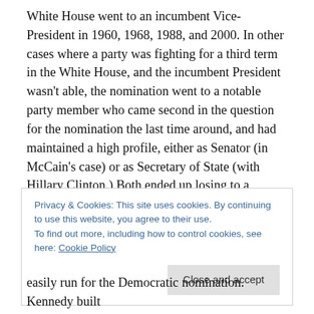White House went to an incumbent Vice-President in 1960, 1968, 1988, and 2000. In other cases where a party was fighting for a third term in the White House, and the incumbent President wasn't able, the nomination went to a notable party member who came second in the question for the nomination the last time around, and had maintained a high profile, either as Senator (in McCain's case) or as Secretary of State (with Hillary Clinton.) Both ended up losing to a political novice.
The candidate of the opposition party isn't as easy to
Privacy & Cookies: This site uses cookies. By continuing to use this website, you agree to their use.
To find out more, including how to control cookies, see here: Cookie Policy
easily run for the Democratic nomination. Kennedy built